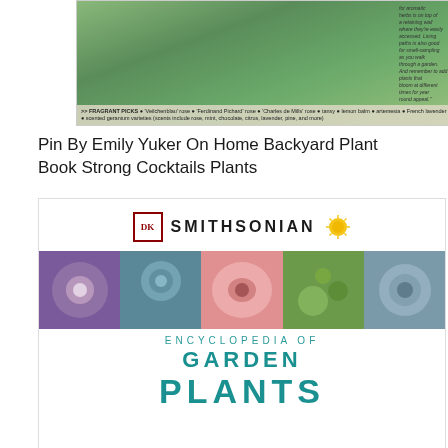[Figure (photo): Photo of fragrant herb plants with green leaves, with text overlay listing fragrant picks including roses, tansy, lemon balm, artemesia, French lavender, valop, and scented geranium varieties. Side text describes aromatic herb placement.]
Pin By Emily Yuker On Home Backyard Plant Book Strong Cocktails Plants
[Figure (photo): Book cover showing DK Smithsonian Encyclopedia of Garden Plants. Header shows DK logo and SMITHSONIAN text with sun icon. Below is a strip of five plant/flower photos. Bottom section shows teal text reading ENCYCLOPEDIA OF GARDEN PLANTS.]